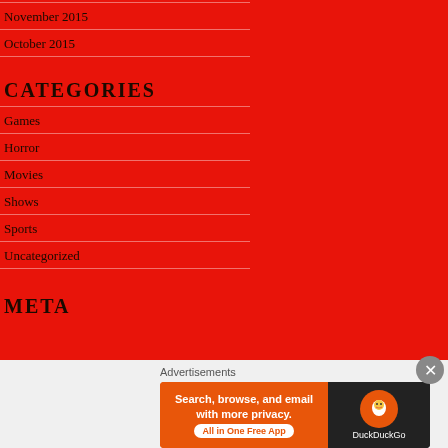November 2015
October 2015
CATEGORIES
Games
Horror
Movies
Shows
Sports
Uncategorized
META
[Figure (screenshot): DuckDuckGo advertisement banner: 'Search, browse, and email with more privacy. All in One Free App' with DuckDuckGo logo on dark background.]